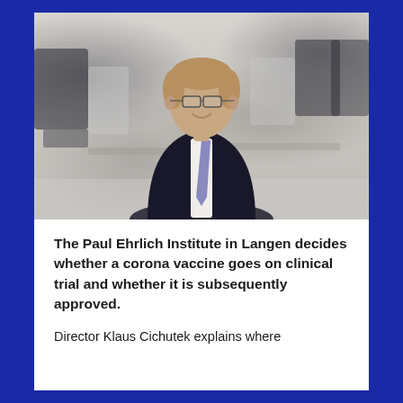[Figure (photo): Portrait photo of a man in a dark suit with glasses and a purple/grey tie, smiling, standing in a room with blurred white chairs and tables in the background. Identified as Director Klaus Cichutek.]
The Paul Ehrlich Institute in Langen decides whether a corona vaccine goes on clinical trial and whether it is subsequently approved.
Director Klaus Cichutek explains where